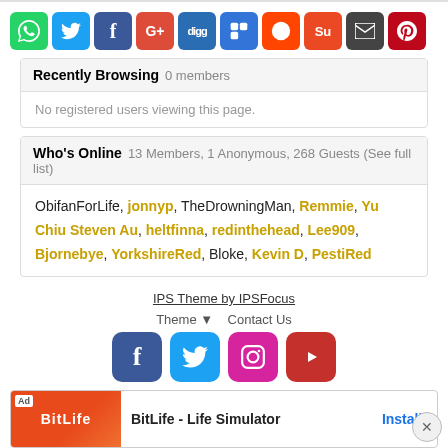[Figure (other): Row of social media share buttons: WhatsApp, Twitter, Facebook, Google+, Digg, Delicious, Reddit, StumbleUpon, Email, Pinterest]
Recently Browsing   0 members
No registered users viewing this page.
Who's Online   13 Members, 1 Anonymous, 268 Guests (See full list)
ObifanForLife, jonnyp, TheDrowningMan, Remmie, Yu Chiu Steven Au, heltfinna, redinthehead, Lee909, Bjornebye, YorkshireRed, Bloke, Kevin D, PestiRed
IPS Theme by IPSFocus
Theme ▼   Contact Us
[Figure (other): Footer social icons: Facebook, Twitter, Instagram, YouTube]
[Figure (other): Advertisement banner: BitLife - Life Simulator with Install button]